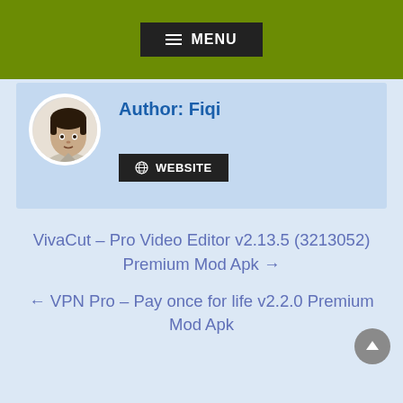≡ MENU
Author: Fiqi
[Figure (photo): Circular profile photo of a young Asian man]
WEBSITE
VivaCut – Pro Video Editor v2.13.5 (3213052) Premium Mod Apk →
← VPN Pro – Pay once for life v2.2.0 Premium Mod Apk